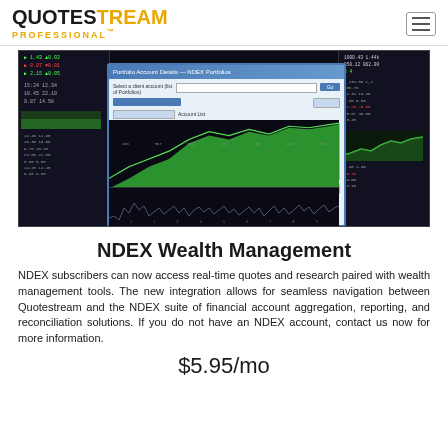QUOTESTREAM PROFESSIONAL™
[Figure (screenshot): Screenshot of Quotestream Professional trading terminal showing NDEX Wealth Management interface with a dialog box overlay displaying account data tables and green area chart in the background]
NDEX Wealth Management
NDEX subscribers can now access real-time quotes and research paired with wealth management tools. The new integration allows for seamless navigation between Quotestream and the NDEX suite of financial account aggregation, reporting, and reconciliation solutions. If you do not have an NDEX account, contact us now for more information.
$5.95/mo